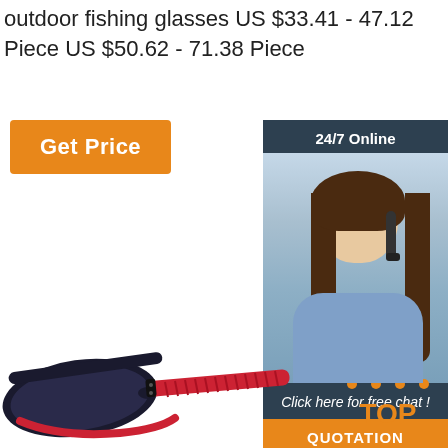outdoor fishing glasses US $33.41 - 47.12 Piece US $50.62 - 71.38 Piece
[Figure (other): Orange 'Get Price' button]
[Figure (other): 24/7 Online customer service widget with photo of woman with headset, 'Click here for free chat!' text, and orange QUOTATION button]
[Figure (photo): Product photo of black and red outdoor fishing/sports sunglasses viewed from the side showing the frame and red temple arms]
[Figure (logo): TOP logo with orange triangle/arrows icon above the text TOP in orange]